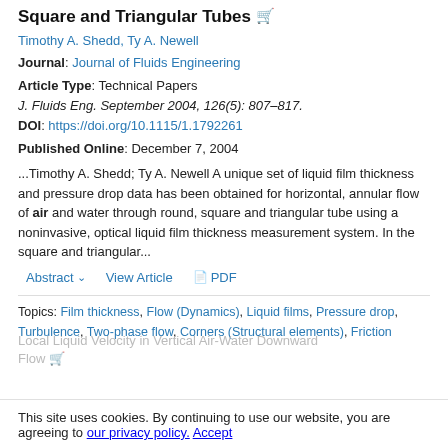Square and Triangular Tubes
Timothy A. Shedd, Ty A. Newell
Journal: Journal of Fluids Engineering
Article Type: Technical Papers
J. Fluids Eng. September 2004, 126(5): 807–817.
DOI: https://doi.org/10.1115/1.1792261
Published Online: December 7, 2004
...Timothy A. Shedd; Ty A. Newell A unique set of liquid film thickness and pressure drop data has been obtained for horizontal, annular flow of air and water through round, square and triangular tube using a noninvasive, optical liquid film thickness measurement system. In the square and triangular...
Abstract ∨   View Article   📄 PDF
Topics: Film thickness, Flow (Dynamics), Liquid films, Pressure drop, Turbulence, Two-phase flow, Corners (Structural elements), Friction
This site uses cookies. By continuing to use our website, you are agreeing to our privacy policy. Accept